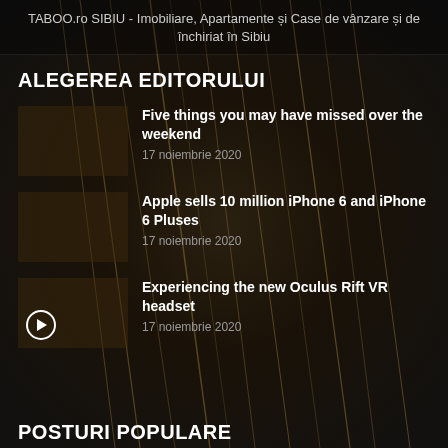TABOO.ro SIBIU - Imobiliare, Apartamente și Case de vânzare și de închiriat în Sibiu
ALEGEREA EDITORULUI
Five things you may have missed over the weekend
17 noiembrie 2020
Apple sells 10 million iPhone 6 and iPhone 6 Pluses
17 noiembrie 2020
Experiencing the new Oculus Rift VR headset
17 noiembrie 2020
POSTURI POPULARE